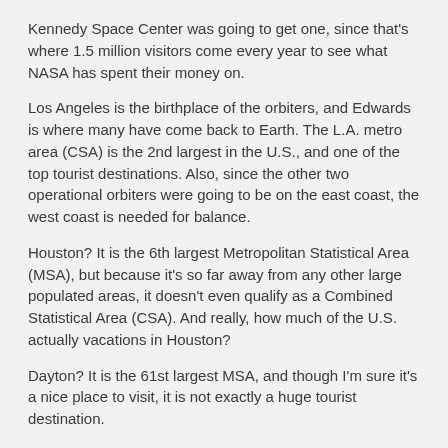Kennedy Space Center was going to get one, since that's where 1.5 million visitors come every year to see what NASA has spent their money on.
Los Angeles is the birthplace of the orbiters, and Edwards is where many have come back to Earth. The L.A. metro area (CSA) is the 2nd largest in the U.S., and one of the top tourist destinations. Also, since the other two operational orbiters were going to be on the east coast, the west coast is needed for balance.
Houston? It is the 6th largest Metropolitan Statistical Area (MSA), but because it's so far away from any other large populated areas, it doesn't even qualify as a Combined Statistical Area (CSA). And really, how much of the U.S. actually vacations in Houston?
Dayton? It is the 61st largest MSA, and though I'm sure it's a nice place to visit, it is not exactly a huge tourist destination.
And if visibility is part of the criteria for orbiter homes, then the Intrepid museum in New York city is certainly a good place for Enterprise.
The choices make sense. Where else should they have gone, and why (i.e. overriding reason U.S. citizens would